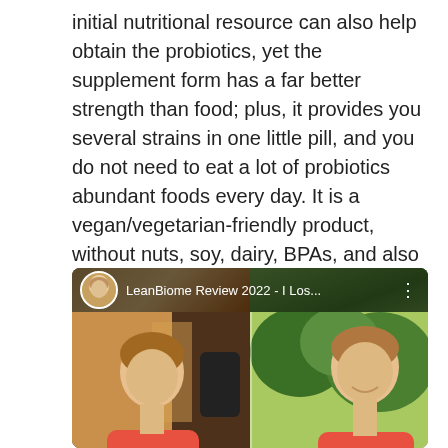initial nutritional resource can also help obtain the probiotics, yet the supplement form has a far better strength than food; plus, it provides you several strains in one little pill, and you do not need to eat a lot of probiotics abundant foods every day. It is a vegan/vegetarian-friendly product, without nuts, soy, dairy, BPAs, and also genetically modified ingredients.
[Figure (screenshot): Screenshot of a YouTube video thumbnail showing 'LeanBiome Review 2022 - I Los...' with before/after style split image of a woman in a pink/coral top, left side indoors and right side outdoors with trees.]